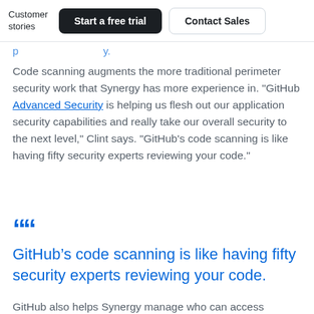Customer stories | Start a free trial | Contact Sales
Code scanning augments the more traditional perimeter security work that Synergy has more experience in. "GitHub Advanced Security is helping us flesh out our application security capabilities and really take our overall security to the next level," Clint says. "GitHub's code scanning is like having fifty security experts reviewing your code."
““
GitHub’s code scanning is like having fifty security experts reviewing your code.
GitHub also helps Synergy manage who can access